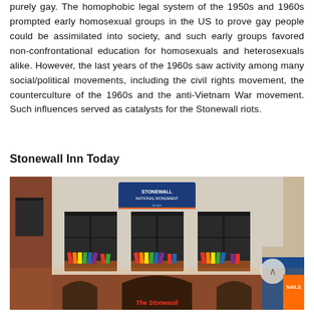purely gay. The homophobic legal system of the 1950s and 1960s prompted early homosexual groups in the US to prove gay people could be assimilated into society, and such early groups favored non-confrontational education for homosexuals and heterosexuals alike. However, the last years of the 1960s saw activity among many social/political movements, including the civil rights movement, the counterculture of the 1960s and the anti-Vietnam War movement. Such influences served as catalysts for the Stonewall riots.
Stonewall Inn Today
[Figure (photo): Exterior photo of the Stonewall Inn building, now designated a National Monument. The building has a beige/grey facade with three windows decorated with rainbow pride flags. The lower portion has brick arches. A blue 'Stonewall National Monument' sign is visible above the center window. The Stonewall Inn sign is visible in red neon near the entrance.]